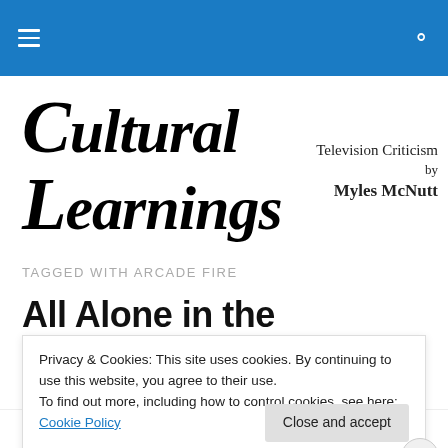Navigation menu and search icon on blue header bar
[Figure (logo): Cultural Learnings cursive/italic logo in black]
Television Criticism by Myles McNutt
TAGGED WITH ARCADE FIRE
All Alone in the Moonlight: The
Privacy & Cookies: This site uses cookies. By continuing to use this website, you agree to their use.
To find out more, including how to control cookies, see here: Cookie Policy
Close and accept
Build a better web and a better world.